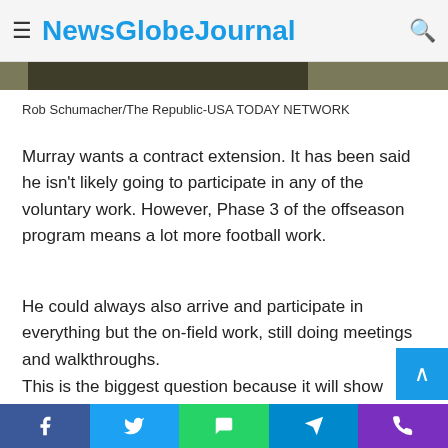NewsGlobeJournal
[Figure (photo): Partial photo visible as a strip at top of article — appears to be a person, dark tones]
Rob Schumacher/The Republic-USA TODAY NETWORK
Murray wants a contract extension. It has been said he isn't likely going to participate in any of the voluntary work. However, Phase 3 of the offseason program means a lot more football work.
He could always also arrive and participate in everything but the on-field work, still doing meetings and walkthroughs.
This is the biggest question because it will show more or less where he stands about working through contract negotiations.
Facebook  Twitter  WhatsApp  Telegram  Phone